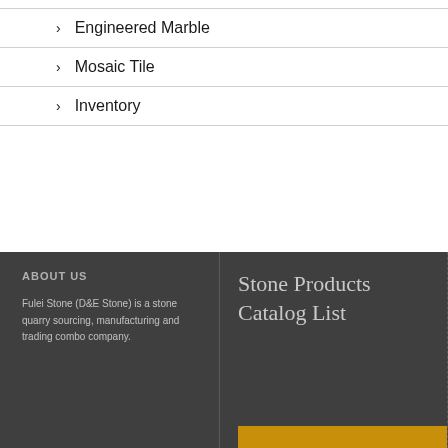Engineered Marble
Mosaic Tile
Inventory
ABOUT US
Fulei Stone (D&E Stone) is a stone quarry sourcing, manufacturing and trading combo company.
Stone Products Catalog List